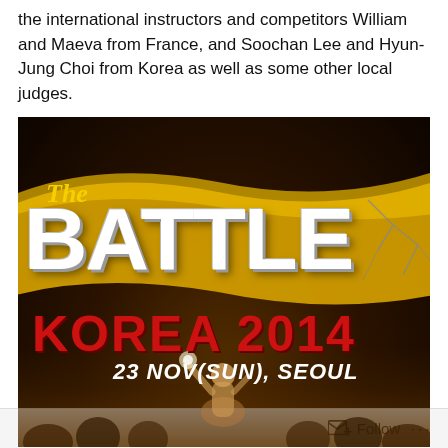the international instructors and competitors William and Maeva from France, and Soochan Lee and Hyun-Jung Choi from Korea as well as some other local judges.
[Figure (photo): Event promotional poster for 'The Battle Korea 2014' showing large stylized white text 'BATTLE' on a gold swoosh background, red text 'KOREA 2014' below, date '23 NOV(SUN), SEOUL' in white italic text, with a crowd scene and person with raised arms in the background.]
Follow ...